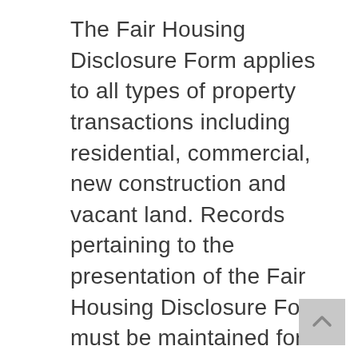The Fair Housing Disclosure Form applies to all types of property transactions including residential, commercial, new construction and vacant land. Records pertaining to the presentation of the Fair Housing Disclosure Form must be maintained for at least three years by law. However, agents are strongly encouraged to retain such records indefinitely.
The regulations were approved by the New York State Real Estate Board and announced by Governor Andrew Cuomo on December 16th, 2019. The new regulations were implemented by adding new sections 175.28, 175.29 and